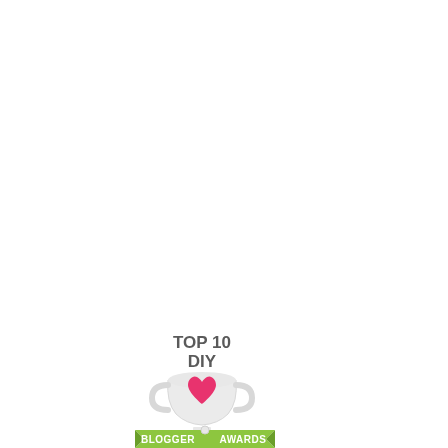[Figure (logo): Blogger Awards badge showing a trophy with a pink heart in the center, green ribbon banner with 'BLOGGER' on the left and 'AWARDS' on the right, and 'TOP 10 DIY' text above in dark gray bold.]